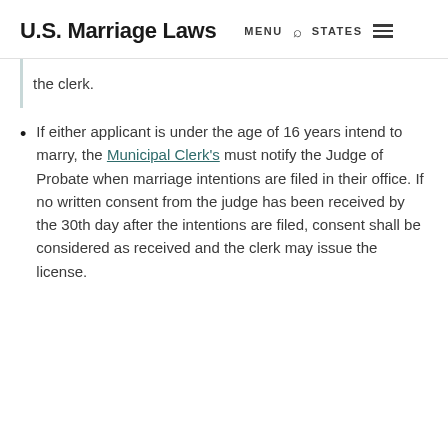U.S. Marriage Laws  MENU  STATES
the clerk.
If either applicant is under the age of 16 years intend to marry, the Municipal Clerk’s must notify the Judge of Probate when marriage intentions are filed in their office. If no written consent from the judge has been received by the 30th day after the intentions are filed, consent shall be considered as received and the clerk may issue the license.